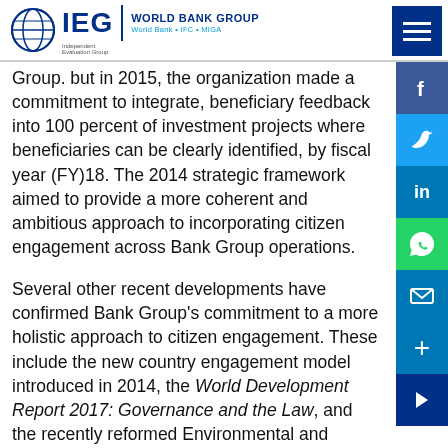IEG World Bank Group — Independent Evaluation Group | World Bank + IFC + MIGA
Group. but in 2015, the organization made a commitment to integrate, beneficiary feedback into 100 percent of investment projects where beneficiaries can be clearly identified, by fiscal year (FY)18. The 2014 strategic framework aimed to provide a more coherent and ambitious approach to incorporating citizen engagement across Bank Group operations.
Several other recent developments have confirmed Bank Group's commitment to a more holistic approach to citizen engagement. These include the new country engagement model introduced in 2014, the World Development Report 2017: Governance and the Law, and the recently reformed Environmental and Social Framework (ESF), which introduces an Environmental and Social Standard on Stakeholder Engagement and Information Disclosure. The ESF reinforces follow-the